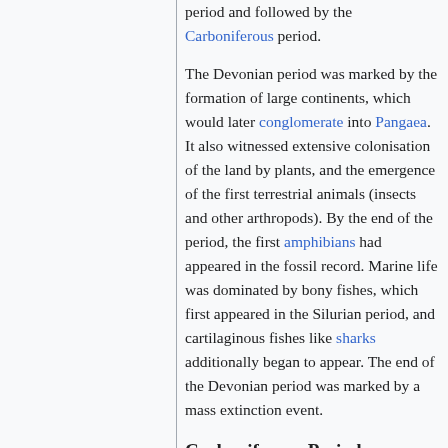period and followed by the Carboniferous period.
The Devonian period was marked by the formation of large continents, which would later conglomerate into Pangaea. It also witnessed extensive colonisation of the land by plants, and the emergence of the first terrestrial animals (insects and other arthropods). By the end of the period, the first amphibians had appeared in the fossil record. Marine life was dominated by bony fishes, which first appeared in the Silurian period, and cartilaginous fishes like sharks additionally began to appear. The end of the Devonian period was marked by a mass extinction event.
Carboniferous Period [edit]